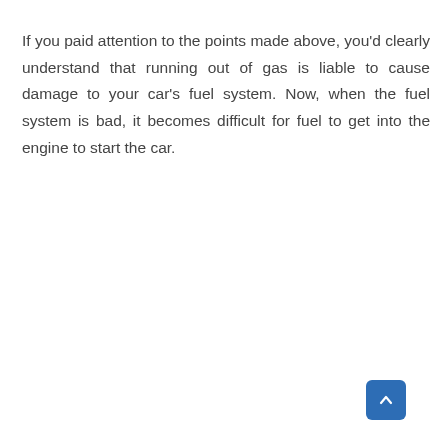If you paid attention to the points made above, you'd clearly understand that running out of gas is liable to cause damage to your car's fuel system. Now, when the fuel system is bad, it becomes difficult for fuel to get into the engine to start the car.
[Figure (other): Light gray content area placeholder with UI overlay buttons: heart/like button (blue circle), like count '5', share button (white circle with share icon), and scroll-to-top button (blue rounded square with up arrow).]